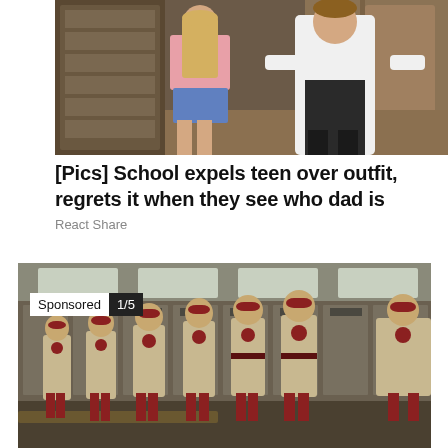[Figure (photo): A teenage girl in a pink tank top and denim shorts standing next to a man in a white dress shirt, posed in front of a door inside a house.]
[Pics] School expels teen over outfit, regrets it when they see who dad is
React Share
[Figure (photo): A group of women in tan vintage baseball uniforms with red accessories standing in a locker room. Overlay shows 'Sponsored 1/5' badge.]